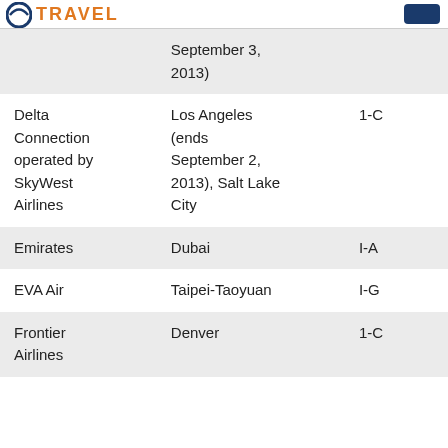TRAVEL
| Airline | Hub/Destination | Terminal |
| --- | --- | --- |
|  | September 3, 2013) |  |
| Delta Connection operated by SkyWest Airlines | Los Angeles (ends September 2, 2013), Salt Lake City | 1-C |
| Emirates | Dubai | I-A |
| EVA Air | Taipei-Taoyuan | I-G |
| Frontier Airlines | Denver | 1-C |